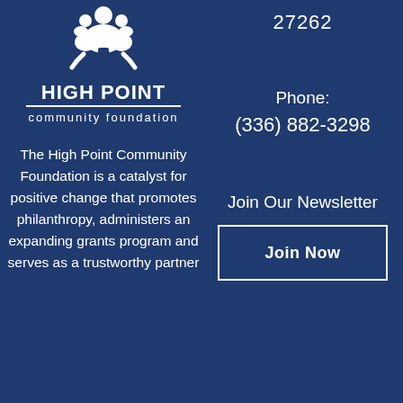[Figure (logo): High Point Community Foundation logo — white tree/people icon above text 'HIGH POINT' with line, then 'community foundation']
27262
Phone:
(336) 882-3298
The High Point Community Foundation is a catalyst for positive change that promotes philanthropy, administers an expanding grants program and serves as a trustworthy partner
Join Our Newsletter
Join Now